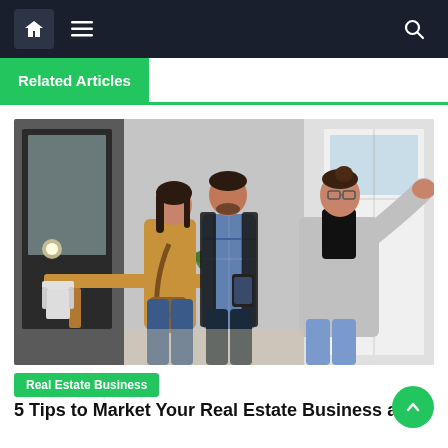Navigation bar with home, menu, and search icons
Related Articles
[Figure (photo): A real estate agent in a grey blazer gesturing to show a modern home interior to a couple - a woman in a tan jacket with a brown bag and a man in a plaid shirt and blazer]
Real Estate Business
5 Tips to Market Your Real Estate Business and